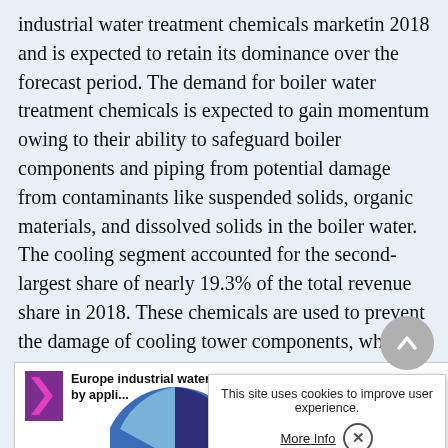industrial water treatment chemicals marketin 2018 and is expected to retain its dominance over the forecast period. The demand for boiler water treatment chemicals is expected to gain momentum owing to their ability to safeguard boiler components and piping from potential damage from contaminants like suspended solids, organic materials, and dissolved solids in the boiler water. The cooling segment accounted for the second-largest share of nearly 19.3% of the total revenue share in 2018. These chemicals are used to prevent the damage of cooling tower components, which results from contaminants in feed water, circulation water, and/or blowdown water. Oxidizing and non-oxidizing biocides are also used for the treatment of cooling water to control the presence of bacteria.
[Figure (pie-chart): Partial view of a pie chart showing Europe industrial water treatment chemicals market by application, with a logo and title visible. Pie chart partially cut off.]
This site uses cookies to improve user experience.
More Info